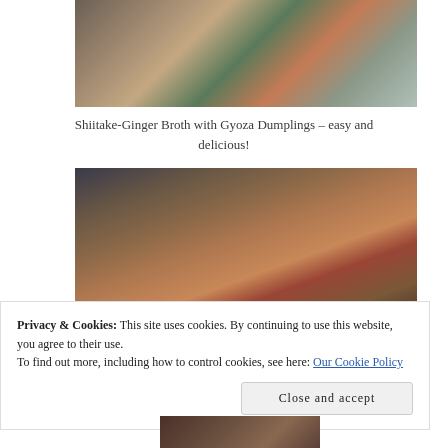[Figure (photo): Overhead view of a bowl of shiitake-ginger broth with gyoza dumplings, with colorful vegetables, a sauce bottle on the left, and a blue striped cloth to the right, on a dark surface.]
Shiitake-Ginger Broth with Gyoza Dumplings – easy and delicious!
[Figure (photo): Overhead view of a white bowl of tomato-based broth with gyoza dumplings and greens, beside a glass of dark liquid, a small white dish with herbs, and a dark cloth, on a wooden table.]
Privacy & Cookies: This site uses cookies. By continuing to use this website, you agree to their use.
To find out more, including how to control cookies, see here: Our Cookie Policy
Close and accept
[Figure (photo): Partial view of another food bowl, partially visible at the bottom of the page.]